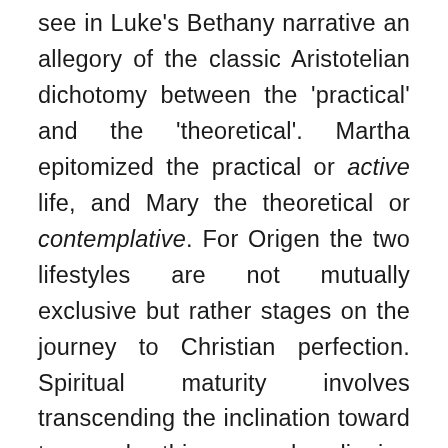see in Luke's Bethany narrative an allegory of the classic Aristotelian dichotomy between the 'practical' and the 'theoretical'. Martha epitomized the practical or active life, and Mary the theoretical or contemplative. For Origen the two lifestyles are not mutually exclusive but rather stages on the journey to Christian perfection. Spiritual maturity involves transcending the inclination toward temporal things and aligning oneself increasingly with the eternal reality that is our ultimate destination. Mary, exemplar of the contemplative life, is thus farther along on the path to perfection than her sister.